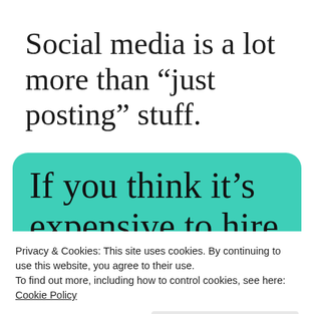Social media is a lot more than “just posting” stuff.
[Figure (infographic): Teal/green rounded box containing large serif text: 'If you think it’s expensive to hire a' with 'amateur' partially visible at bottom]
Privacy & Cookies: This site uses cookies. By continuing to use this website, you agree to their use.
To find out more, including how to control cookies, see here: Cookie Policy
Close and accept